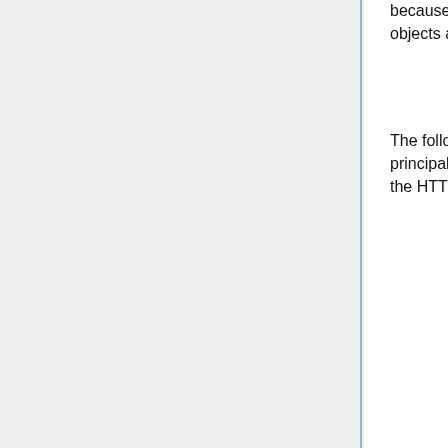because the anonymizer appears before the export service, anonymized objects are exported.
The following is an example of a simple configuration that might be used at a principal investigator's site. It contains one pipeline which receives objects via the HTTP protocol, stores them, and exports them to a DICOM destination:
<Configuration>
    <Server port="80" />
    <Pipeline name="Main Pipeline">
            <ImportService
                name="HTTP Import"

class="org.rsna.ctp.stdstages.HttpImportService"

root="roots/http-import"
                 d=""